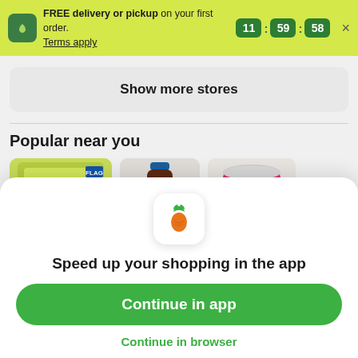FREE delivery or pickup on your first order. Terms apply. 11:59:58 ×
Show more stores
Popular near you
[Figure (photo): Three grocery product images partially visible: Friskies Party cat food bag (green/yellow), Torani syrup bottle (dark brown liquid, blue cap), pink yogurt container]
[Figure (logo): Instacart app icon with carrot logo (green leaves, orange carrot body) on white rounded square background]
Speed up your shopping in the app
Continue in app
Continue in browser